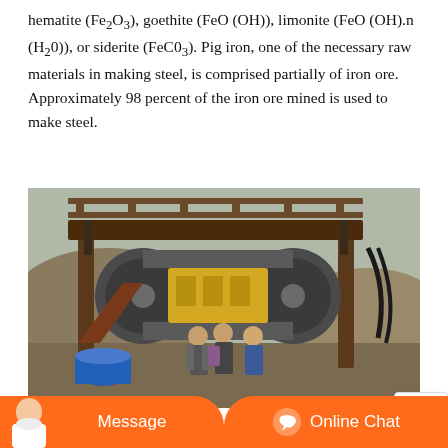hematite (Fe2O3), goethite (FeO (OH)), limonite (FeO (OH).n (H2O)), or siderite (FeCO3). Pig iron, one of the necessary raw materials in making steel, is comprised partially of iron ore. Approximately 98 percent of the iron ore mined is used to make steel.
[Figure (photo): Photograph of industrial mining equipment — a large conveyor/crusher machine with a metal frame and roof structure. Several workers/visitors in jackets stand inspecting the machine. Rocky terrain and soil mounds visible in the background.]
[Figure (screenshot): Website chat bar overlay with orange background. Left side shows a customer service avatar photo and 'Message' button text. Right side shows 'Online Chat' with a headset icon.]